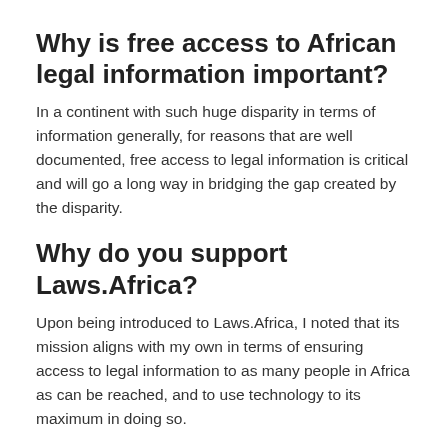Why is free access to African legal information important?
In a continent with such huge disparity in terms of information generally, for reasons that are well documented, free access to legal information is critical and will go a long way in bridging the gap created by the disparity.
Why do you support Laws.Africa?
Upon being introduced to Laws.Africa, I noted that its mission aligns with my own in terms of ensuring access to legal information to as many people in Africa as can be reached, and to use technology to its maximum in doing so.
Are you seeing any trends that makes